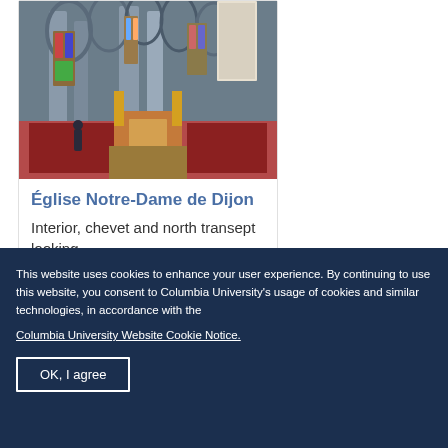[Figure (photo): Interior of Église Notre-Dame de Dijon — gothic cathedral nave with arched windows and red choir area]
Église Notre-Dame de Dijon
Interior, chevet and north transept looking...
[Figure (photo): Partial view of a second photo card (cropped at bottom of page)]
This website uses cookies to enhance your user experience. By continuing to use this website, you consent to Columbia University's usage of cookies and similar technologies, in accordance with the
Columbia University Website Cookie Notice.
OK, I agree